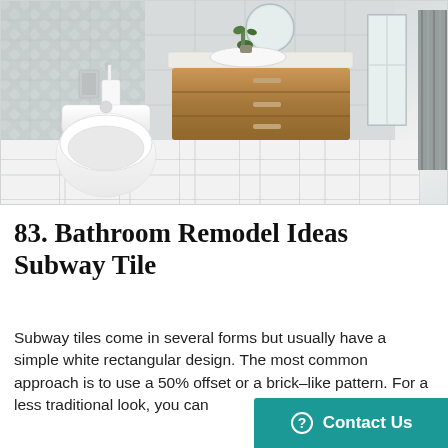[Figure (photo): A modern bathroom render showing a wall-mounted white toilet, a floating wooden vanity with white countertop and sink, large white floor tiles with grey grout, herringbone-pattern grey wall tiles, a round mirror, plants on the vanity, a towel on a bar, a narrow window, and a radiator on the right side.]
83. Bathroom Remodel Ideas Subway Tile
Subway tiles come in several forms but usually have a simple white rectangular design. The most common approach is to use a 50% offset or a brick-like pattern. For a less traditional look, you can